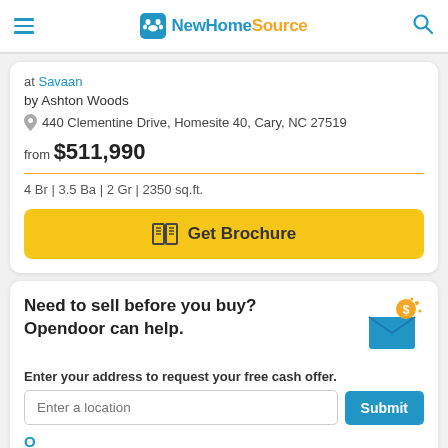NewHomeSource
at Savaan
by Ashton Woods
440 Clementine Drive, Homesite 40, Cary, NC 27519
from $511,990
4 Br | 3.5 Ba | 2 Gr | 2350 sq.ft.
Get Brochure
Need to sell before you buy? Opendoor can help.
Enter your address to request your free cash offer.
Enter a location
Submit